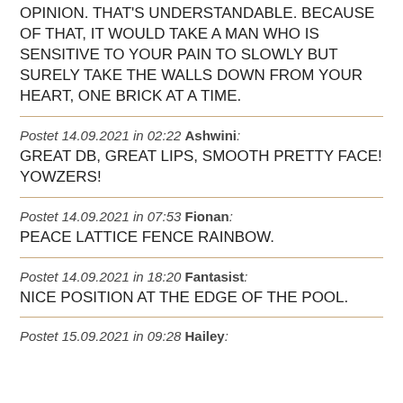OPINION. THAT'S UNDERSTANDABLE. BECAUSE OF THAT, IT WOULD TAKE A MAN WHO IS SENSITIVE TO YOUR PAIN TO SLOWLY BUT SURELY TAKE THE WALLS DOWN FROM YOUR HEART, ONE BRICK AT A TIME.
Postet 14.09.2021 in 02:22 Ashwini: GREAT DB, GREAT LIPS, SMOOTH PRETTY FACE! YOWZERS!
Postet 14.09.2021 in 07:53 Fionan: PEACE LATTICE FENCE RAINBOW.
Postet 14.09.2021 in 18:20 Fantasist: NICE POSITION AT THE EDGE OF THE POOL.
Postet 15.09.2021 in 09:28 Hailey: